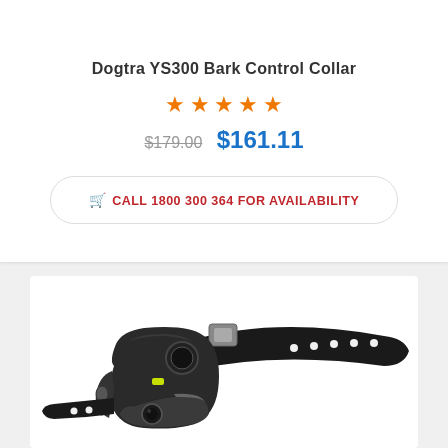Dogtra YS300 Bark Control Collar
★★★★★
$179.00  $161.11
🛒 CALL 1800 300 364 FOR AVAILABILITY
[Figure (photo): Close-up photo of the Dogtra YS300 bark control collar showing the electronic module with buttons and a black rubber strap with holes, on a white background.]